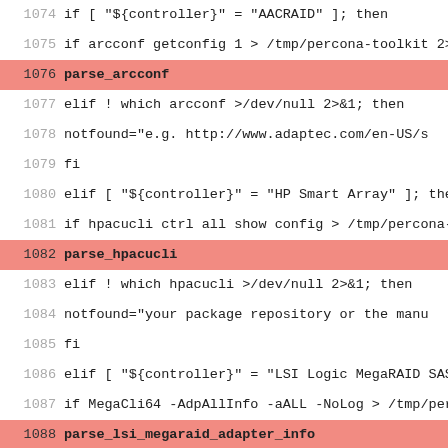Code listing lines 1074-1098 showing shell script with RAID controller detection logic. Highlighted lines indicate parse function calls: parse_arcconf (1076), parse_hpacucli (1082), parse_lsi_megaraid_adapter_info (1088), parse_lsi_megaraid_bbu_status (1093), parse_lsi_megaraid_virtual_devices (1096), parse_lsi_megaraid_devices (1097).